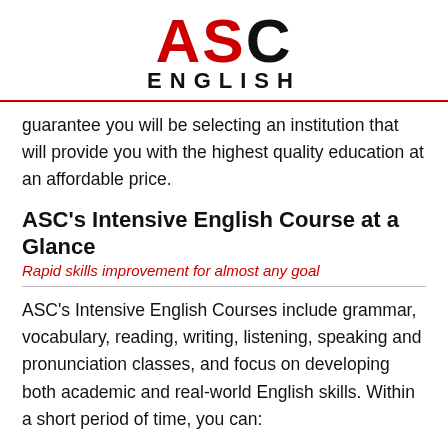[Figure (logo): ASC English logo with ASC in large text (A and S in red, C in black) and ENGLISH in spaced capitals below]
guarantee you will be selecting an institution that will provide you with the highest quality education at an affordable price.
ASC's Intensive English Course at a Glance
Rapid skills improvement for almost any goal
ASC's Intensive English Courses include grammar, vocabulary, reading, writing, listening, speaking and pronunciation classes, and focus on developing both academic and real-world English skills. Within a short period of time, you can:
Improve your verbal and written English skills for US